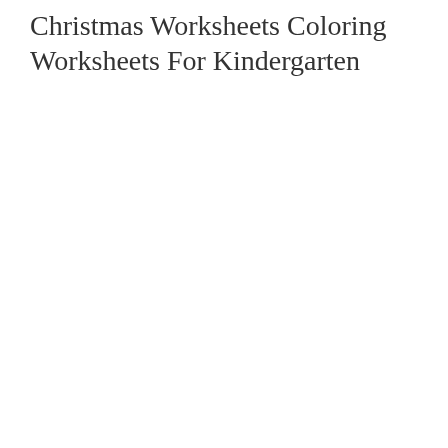Christmas Worksheets Coloring Worksheets For Kindergarten